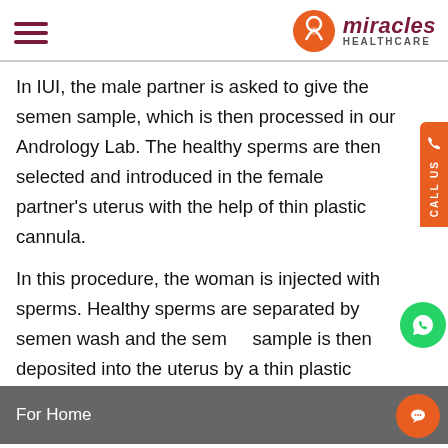miracles HEALTHCARE
In IUI, the male partner is asked to give the semen sample, which is then processed in our Andrology Lab. The healthy sperms are then selected and introduced in the female partner's uterus with the help of thin plastic cannula.
In this procedure, the woman is injected with sperms. Healthy sperms are separated by semen wash and the semen sample is then deposited into the uterus by a thin plastic catheter introduced through the cervix.
In most of the cases, the female is also given medication to stimulate the ovaries to produce 1-2 eggs. This whole procedure is closely monitored using serial ultrasounds.